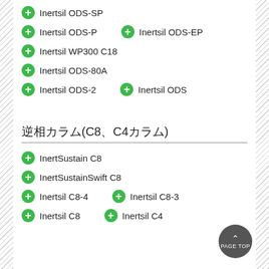Inertsil ODS-SP
Inertsil ODS-P
Inertsil ODS-EP
Inertsil WP300 C18
Inertsil ODS-80A
Inertsil ODS-2
Inertsil ODS
逆相カラム(C8、C4カラム)
InertSustain C8
InertSustainSwift C8
Inertsil C8-4
Inertsil C8-3
Inertsil C8
Inertsil C4